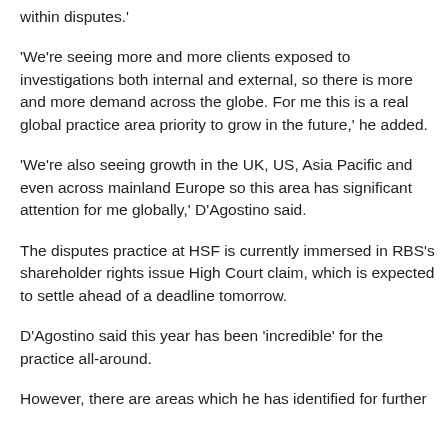within disputes.'
'We're seeing more and more clients exposed to investigations both internal and external, so there is more and more demand across the globe. For me this is a real global practice area priority to grow in the future,' he added.
'We're also seeing growth in the UK, US, Asia Pacific and even across mainland Europe so this area has significant attention for me globally,' D'Agostino said.
The disputes practice at HSF is currently immersed in RBS's shareholder rights issue High Court claim, which is expected to settle ahead of a deadline tomorrow.
D'Agostino said this year has been 'incredible' for the practice all-around.
However, there are areas which he has identified for further